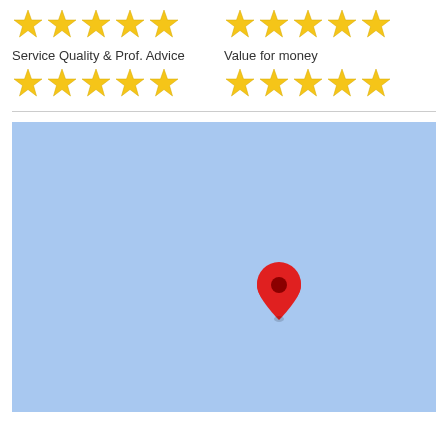[Figure (other): Five gold stars rating row for overall rating (top left)]
[Figure (other): Five gold stars rating row for overall rating (top right)]
Service Quality & Prof. Advice
[Figure (other): Five gold stars rating for Service Quality & Prof. Advice]
Value for money
[Figure (other): Five gold stars rating for Value for money]
[Figure (map): Google Maps style map with a red location pin marker in the center-right area of the map]